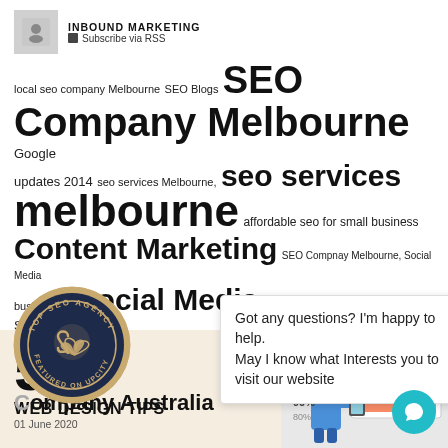INBOUND MARKETING  Subscribe via RSS
[Figure (infographic): Word/tag cloud with SEO and marketing related terms in varying font sizes: local seo company Melbourne, SEO Blogs, SEO, Company Melbourne, Google, updates 2014, seo services Melbourne, seo services, melbourne, affordable seo for small business, Content Marketing, SEO Compnay Melbourne, Social Media, businesses, Social Media, SEO Services Melbourne, Services - Web, Google updates, melbourne seo G, Company Australia]
[Figure (logo): Circular badge: TOP SEO AGENCY, FEATURED ON UPCITY, dark navy background with two overlapping hearts logo in orange/copper]
Got any questions? I'm happy to help.
May I know what Interests you to visit our website
Company Australia
01 June 2020
[Figure (illustration): Bottom section split: left is cream/beige background with large '5' and text 'WEB DESIGN TIPS'; right shows a website screenshot with nav bar HOME, OUR TEAM, SERVICES, CDN and a cartoon figure of a person in blue holding a tablet, with a teal circular chat button in the bottom right corner]